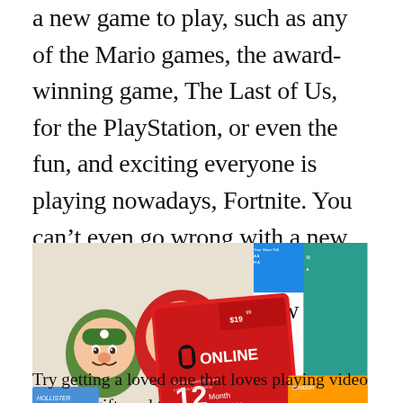a new game to play, such as any of the Mario games, the award-winning game, The Last of Us, for the PlayStation, or even the fun, and exciting everyone is playing nowadays, Fortnite. You can't even go wrong with a new video game to play, so get a loved one a gift card to get a new game today!
[Figure (photo): A hand holding a Nintendo Switch Online 12-month membership gift card in front of a display of various gift cards including Hot Topic, Hollister, Amazon, Kohl's, and others.]
Try getting a loved one that loves playing video games a gift card to